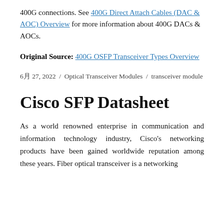400G connections. See 400G Direct Attach Cables (DAC & AOC) Overview for more information about 400G DACs & AOCs.
Original Source: 400G OSFP Transceiver Types Overview
6月 27, 2022  /  Optical Transceiver Modules  /  transceiver module
Cisco SFP Datasheet
As a world renowned enterprise in communication and information technology industry, Cisco's networking products have been gained worldwide reputation among these years. Fiber optical transceiver is a networking